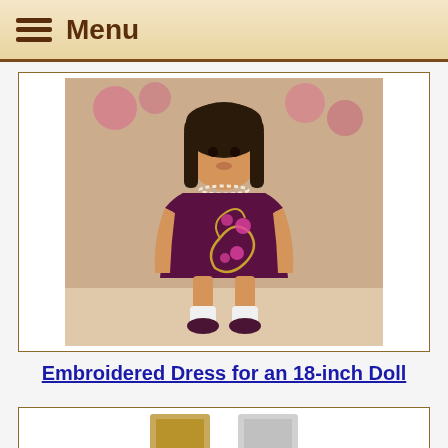Menu
[Figure (photo): An 18-inch doll wearing a dark burgundy/purple embroidered dress with floral gold and pink embroidery, white lace socks, dark shoes, and a pearl necklace. Dark hair with bangs. Background shows pink roses on a brick wall.]
Embroidered Dress for an 18-inch Doll
[Figure (photo): Bottom portion of a second product card, partially visible, showing small product images.]